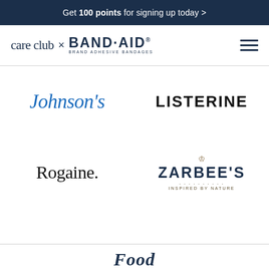Get 100 points for signing up today >
[Figure (logo): care club x BAND-AID Brand Adhesive Bandages logo with hamburger menu icon]
[Figure (logo): Johnson's brand logo in blue italic script]
[Figure (logo): LISTERINE logo in bold black uppercase letters]
[Figure (logo): Rogaine logo in serif font]
[Figure (logo): ZARBEE'S INSPIRED BY NATURE logo in navy blue]
Food